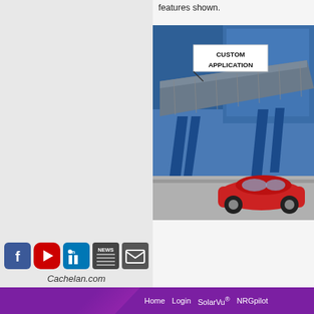features shown.
[Figure (photo): Photo of a solar panel carport structure with blue support columns over a parking area with a red electric car (Nissan Leaf) underneath. A label overlay reads 'CUSTOM APPLICATION'.]
[Figure (infographic): Social media icons: Facebook, YouTube, LinkedIn, News, Email/Newsletter links, and Cachelan.com text below.]
Cachelan.com
Home   Login   SolarVu®   NRGpilot